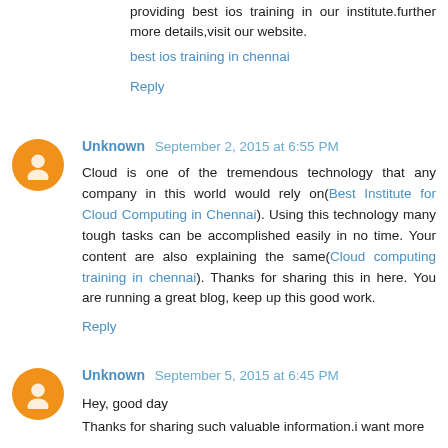providing best ios training in our institute.further more details,visit our website.
best ios training in chennai
Reply
Unknown  September 2, 2015 at 6:55 PM
Cloud is one of the tremendous technology that any company in this world would rely on(Best Institute for Cloud Computing in Chennai). Using this technology many tough tasks can be accomplished easily in no time. Your content are also explaining the same(Cloud computing training in chennai). Thanks for sharing this in here. You are running a great blog, keep up this good work.
Reply
Unknown  September 5, 2015 at 6:45 PM
Hey, good day
Thanks for sharing such valuable information.i want more